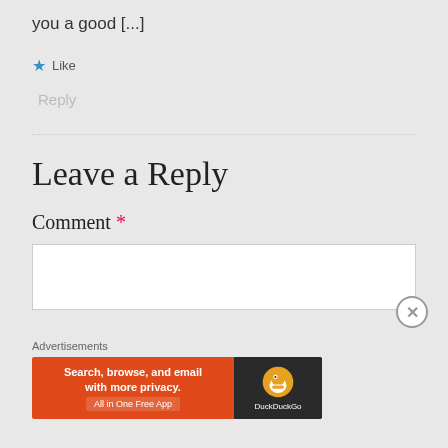you a good [...]
★ Like
Reply
Leave a Reply
Comment *
[Figure (screenshot): Empty comment text area input box]
Advertisements
[Figure (infographic): DuckDuckGo advertisement banner: Search, browse, and email with more privacy. All in One Free App]